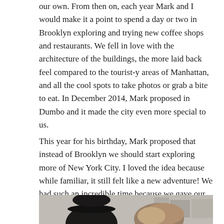our own. From then on, each year Mark and I would make it a point to spend a day or two in Brooklyn exploring and trying new coffee shops and restaurants. We fell in love with the architecture of the buildings, the more laid back feel compared to the tourist-y areas of Manhattan, and all the cool spots to take photos or grab a bite to eat. In December 2014, Mark proposed in Dumbo and it made the city even more special to us.
This year for his birthday, Mark proposed that instead of Brooklyn we should start exploring more of New York City. I loved the idea because while familiar, it still felt like a new adventure! We had such an incredible time because we gave our self a loose schedule with enough time left to explore.
[Figure (photo): Partial photo of two people, one wearing a dark hat on the left and another person on the right, cropped at the bottom of the page.]